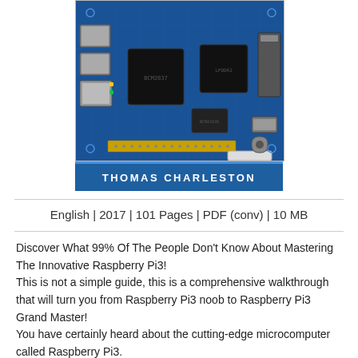[Figure (photo): Photo of a Raspberry Pi 3 circuit board (blue PCB with chips, ports, and GPIO pins) with author name 'THOMAS CHARLESTON' on a blue banner below the board image.]
English | 2017 | 101 Pages | PDF (conv) | 10 MB
Discover What 99% Of The People Don't Know About Mastering The Innovative Raspberry Pi3!
This is not a simple guide, this is a comprehensive walkthrough that will turn you from Raspberry Pi3 noob to Raspberry Pi3 Grand Master!
You have certainly heard about the cutting-edge microcomputer called Raspberry Pi3.
It's that small yet extremely versatile piece of technology that is threatening to replace your old bulky PC.
The Pi3 is the latest greatest addition to the Raspberry